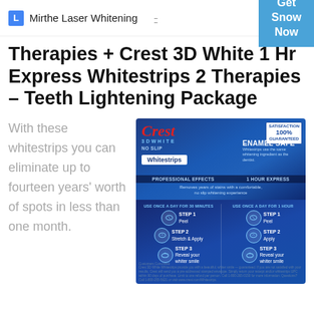Mirthe Laser Whitening | Get Snow Now
Therapies + Crest 3D White 1 Hr Express Whitestrips 2 Therapies – Teeth Lightening Package
With these whitestrips you can eliminate up to fourteen years' worth of spots in less than one month.
[Figure (photo): Crest 3D White No Slip Whitestrips product packaging showing Enamel Safe claim, Professional Effects and 1 Hour Express options, usage steps for 30-minute and 1-hour use, satisfaction 100% guaranteed badge]